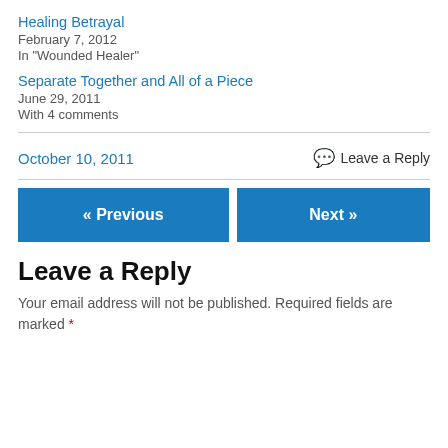Healing Betrayal
February 7, 2012
In "Wounded Healer"
Separate Together and All of a Piece
June 29, 2011
With 4 comments
October 10, 2011
Leave a Reply
« Previous
Next »
Leave a Reply
Your email address will not be published. Required fields are marked *